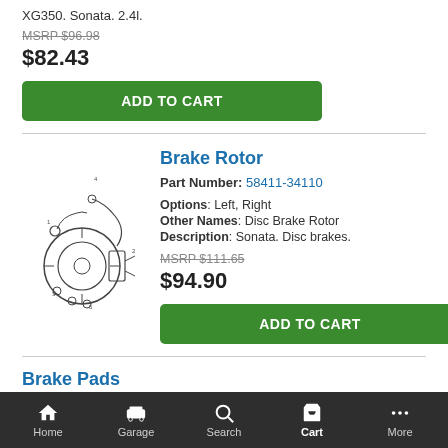XG350. Sonata. 2.4l.
MSRP $96.98
$82.43
ADD TO CART
Brake Rotor
Part Number: 58411-34110
Options: Left, Right
Other Names: Disc Brake Rotor
Description: Sonata. Disc brakes.
MSRP $111.65
$94.90
ADD TO CART
[Figure (illustration): Technical diagram of brake rotor assembly with labeled parts]
Brake Pads
Home | Garage | Search | Cart | More